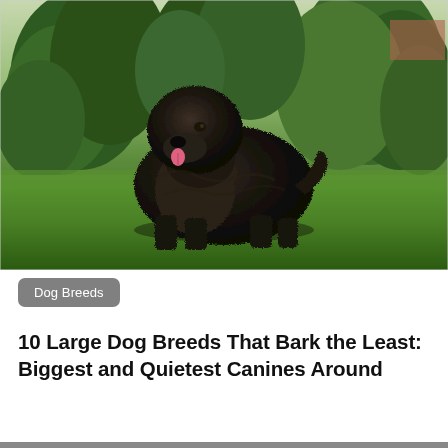[Figure (photo): A large black Newfoundland dog standing on green grass in front of evergreen trees, tongue out, facing left]
Dog Breeds
10 Large Dog Breeds That Bark the Least: Biggest and Quietest Canines Around